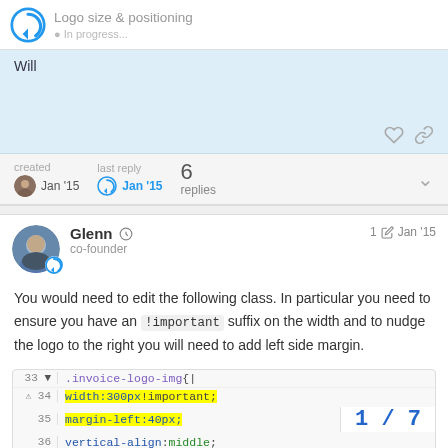Logo size & positioning
Will
created Jan '15   last reply Jan '15   6 replies
Glenn co-founder  1  Jan '15
You would need to edit the following class. In particular you need to ensure you have an !important suffix on the width and to nudge the logo to the right you will need to add left side margin.
[Figure (screenshot): Code editor screenshot showing CSS lines 33-37: .invoice-logo-img { width:300px !important; margin-left:40px; vertical-align: middle; /* followed by more */ with lines 34-35 highlighted in yellow. Bottom right shows '1 / 7']